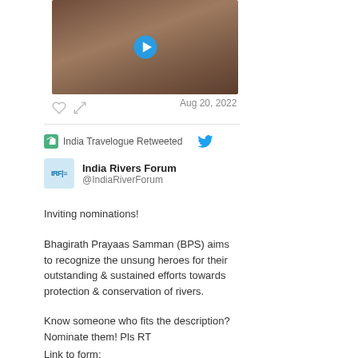[Figure (screenshot): Video thumbnail showing a rocky/muddy hillside scene with a blue play button in the center]
Aug 20, 2022
India Travelogue Retweeted
India Rivers Forum
@IndiaRiverForum
Inviting nominations!
Bhagirath Prayaas Samman (BPS) aims to recognize the unsung heroes for their outstanding & sustained efforts towards protection & conservation of rivers.
Know someone who fits the description? Nominate them! Pls RT
Link to form: